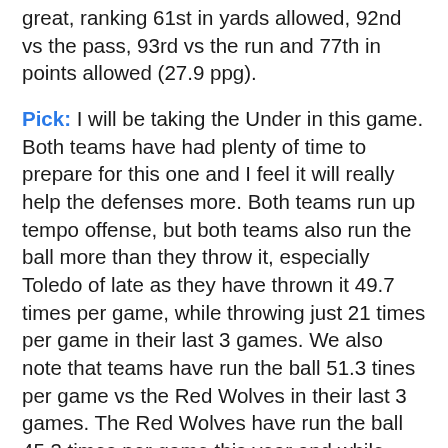great, ranking 61st in yards allowed, 92nd vs the pass, 93rd vs the run and 77th in points allowed (27.9 ppg).
Pick: I will be taking the Under in this game. Both teams have had plenty of time to prepare for this one and I feel it will really help the defenses more. Both teams run up tempo offense, but both teams also run the ball more than they throw it, especially Toledo of late as they have thrown it 49.7 times per game, while throwing just 21 times per game in their last 3 games. We also note that teams have run the ball 51.3 tines per game vs the Red Wolves in their last 3 games. The Red Wolves have run the ball 45.3 times per game this year and while they do score allot they do run allot of clock with all their running. Both teams will put yup their fair share of points, but still this line is too high for all the running that will occur in this game. No more than (9 l...